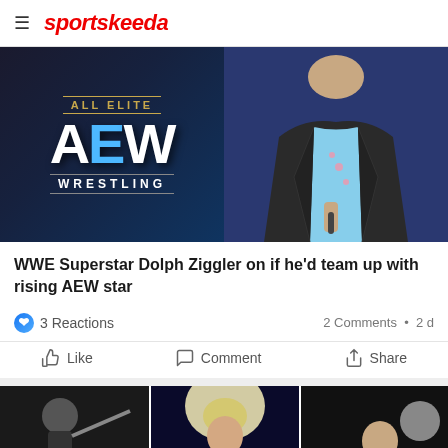≡ sportskeeda
[Figure (photo): Composite image: left side shows AEW (All Elite Wrestling) logo on dark background with blue accent; right side shows a man in dark blazer and patterned shirt holding a microphone]
WWE Superstar Dolph Ziggler on if he'd team up with rising AEW star
3 Reactions   2 Comments · 2 d
👍 Like   💬 Comment   ➤ Share
[Figure (photo): Bottom strip showing three wrestlers in separate panels]